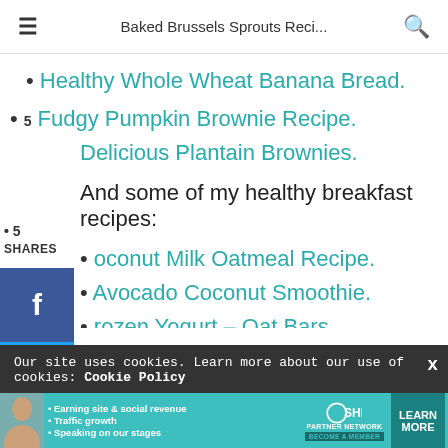Baked Brussels Sprouts Reci...
Healthy Whole Wheat Banana Bread.
5 Fudgy Pumpkin Brownie Recipe.
Delicious Plantain Brownies.
And some of my healthy breakfast recipes:
Coconut Milk Oatmeal Recipe.
Avocado Coconut Smoothie.
Frozen Yogurt – Oat Bars.
Our site uses cookies. Learn more about our use of cookies: Cookie Policy
[Figure (infographic): SHE Partner Network advertisement banner with photo, bullet points about earning site & social revenue, traffic growth, speaking on stages, SHE logo, and LEARN MORE button]